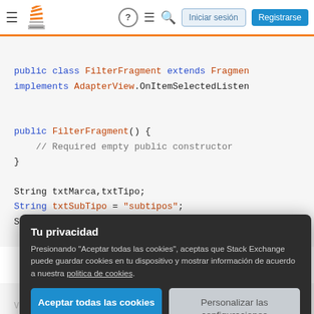Stack Overflow navigation bar with hamburger, logo, help, chat, search, Iniciar sesión, Registrarse
[Figure (screenshot): Code snippet showing Java class FilterFragment extending Fragment and implementing AdapterView.OnItemSelectedListener, with constructor and String/Spinner declarations]
Tu privacidad
Presionando "Aceptar todas las cookies", aceptas que Stack Exchange puede guardar cookies en tu dispositivo y mostrar información de acuerdo a nuestra politica de cookies.
Aceptar todas las cookies
Personalizar las configuraciones